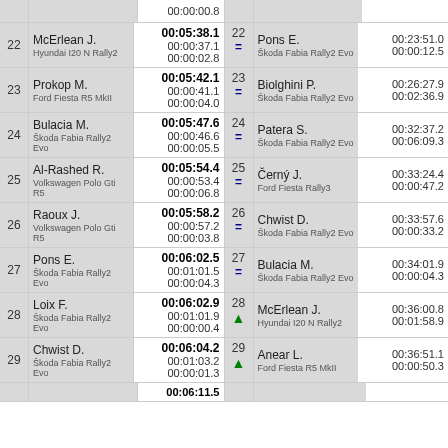| Pos | Driver/Car | Time | Pos | Driver/Car | Time |
| --- | --- | --- | --- | --- | --- |
| 22 | McErlean J. / Hyundai I20 N Rally2 | 00:05:38.1 / 00:00:37.1 / 00:00:02.8 | 22 | Pons E. / Škoda Fabia Rally2 Evo | 00:23:51.0 / 00:00:12.5 |
| 23 | Prokop M. / Ford Fiesta R5 MkII | 00:05:42.1 / 00:00:41.1 / 00:00:04.0 | 23 | Biolghini P. / Škoda Fabia Rally2 Evo | 00:26:27.9 / 00:02:36.9 |
| 24 | Bulacia M. / Škoda Fabia Rally2 Evo | 00:05:47.6 / 00:00:46.6 / 00:00:05.5 | 24 | Patera S. / Škoda Fabia Rally2 Evo | 00:32:37.2 / 00:06:09.3 |
| 25 | Al-Rashed R. / Volkswagen Polo Gti R5 | 00:05:54.4 / 00:00:53.4 / 00:00:06.8 | 25 | Černý J. / Ford Fiesta Rally3 | 00:33:24.4 / 00:00:47.2 |
| 26 | Raoux J. / Volkswagen Polo Gti R5 | 00:05:58.2 / 00:00:57.2 / 00:00:03.8 | 26 | Chwist D. / Škoda Fabia Rally2 Evo | 00:33:57.6 / 00:00:33.2 |
| 27 | Pons E. / Škoda Fabia Rally2 Evo | 00:06:02.5 / 00:01:01.5 / 00:00:04.3 | 27 | Bulacia M. / Škoda Fabia Rally2 Evo | 00:34:01.9 / 00:00:04.3 |
| 28 | Loix F. / Škoda Fabia Rally2 Evo | 00:06:02.9 / 00:01:01.9 / 00:00:00.4 | 28 | McErlean J. / Hyundai I20 N Rally2 | 00:36:00.8 / 00:01:58.9 |
| 29 | Chwist D. / Škoda Fabia Rally2 Evo | 00:06:04.2 / 00:01:03.2 / 00:00:01.3 | 29 | Anear L. / Ford Fiesta R5 MkII | 00:36:51.1 / 00:00:50.3 |